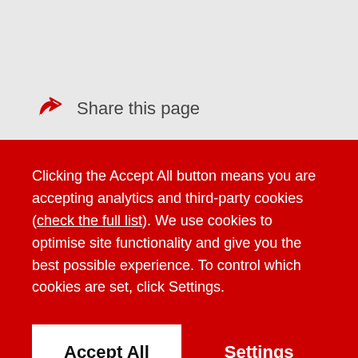Share this page
Clicking the Accept All button means you are accepting analytics and third-party cookies (check the full list). We use cookies to optimise site functionality and give you the best possible experience. To control which cookies are set, click Settings.
Accept All
Settings